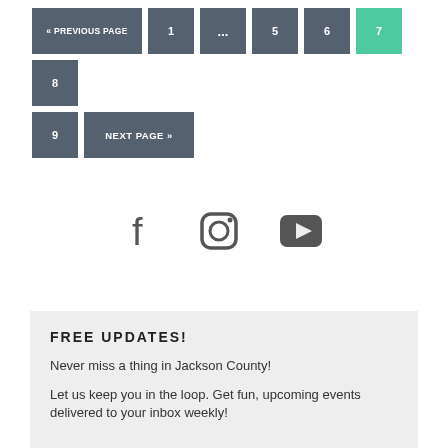« PREVIOUS PAGE  1  ...  5  6  7  8  9  NEXT PAGE »
[Figure (other): Social media icons: Facebook, Instagram, YouTube]
FREE UPDATES!
Never miss a thing in Jackson County!
Let us keep you in the loop. Get fun, upcoming events delivered to your inbox weekly!